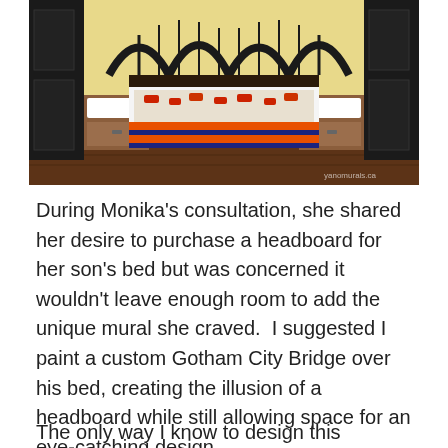[Figure (photo): A boy's bedroom with dark wood furniture including a bed with an orange and navy striped blanket and a patterned pillow/comforter, wooden nightstands with white drawers, and a yellow wall with a Batman-themed mural painted above the headboard area. The image has a watermark in the bottom right.]
During Monika's consultation, she shared her desire to purchase a headboard for her son's bed but was concerned it wouldn't leave enough room to add the unique mural she craved.  I suggested I paint a custom Gotham City Bridge over his bed, creating the illusion of a headboard while still allowing space for an eye-catching design.
The only way I know to design this